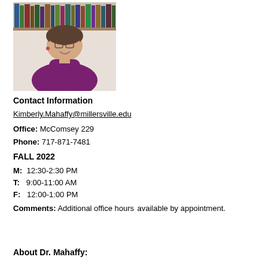[Figure (photo): Headshot photo of Dr. Kimberly Mahaffy, a woman with glasses wearing a purple top, standing in front of bookshelves]
Contact Information
Kimberly.Mahaffy@millersville.edu
Office: McComsey 229
Phone: 717-871-7481
FALL 2022
M:  12:30-2:30 PM
T:   9:00-11:00 AM
F:   12:00-1:00 PM
Comments: Additional office hours available by appointment.
About Dr. Mahaffy: